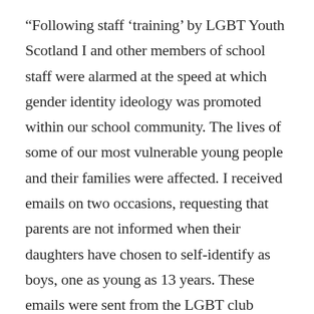“Following staff ‘training’ by LGBT Youth Scotland I and other members of school staff were alarmed at the speed at which gender identity ideology was promoted within our school community. The lives of some of our most vulnerable young people and their families were affected. I received emails on two occasions, requesting that parents are not informed when their daughters have chosen to self-identify as boys, one as young as 13 years. These emails were sent from the LGBT club teacher and not a guidance teacher, nor was there any diagnosis of